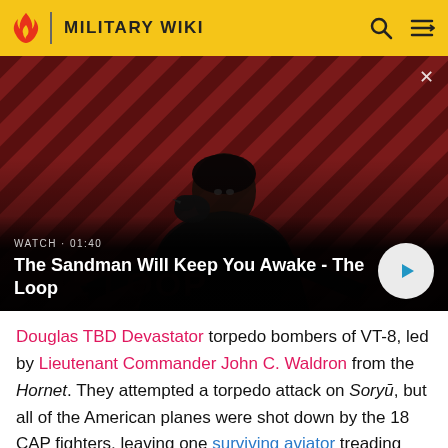MILITARY WIKI
[Figure (screenshot): Video thumbnail showing a dark figure with a raven on their shoulder against a red and black diagonal striped background. Overlay text reads WATCH · 01:40 and title The Sandman Will Keep You Awake - The Loop with a play button.]
Douglas TBD Devastator torpedo bombers of VT-8, led by Lieutenant Commander John C. Waldron from the Hornet. They attempted a torpedo attack on Soryū, but all of the American planes were shot down by the 18 CAP fighters, leaving one surviving aviator treading water.[51]